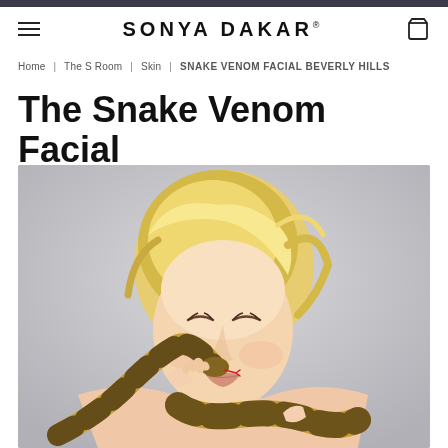Sonya Dakar — navigation bar with hamburger menu and cart icon
Home | The S Room | Skin | SNAKE VENOM FACIAL BEVERLY HILLS
The Snake Venom Facial
[Figure (photo): A blonde woman with eyes closed holding a ball python snake close to her face, the snake draped around her hands and shoulders, against a light grey background.]